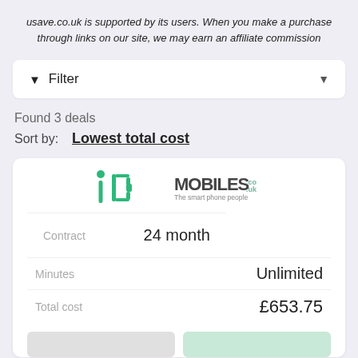usave.co.uk is supported by its users. When you make a purchase through links on our site, we may earn an affiliate commission
Filter
Found 3 deals
Sort by: Lowest total cost
[Figure (logo): iD Mobile and Mobiles.co.uk logos side by side]
|  |  |
| --- | --- |
| Contract | 24 month |
| Minutes | Unlimited |
| Total cost | £653.75 |